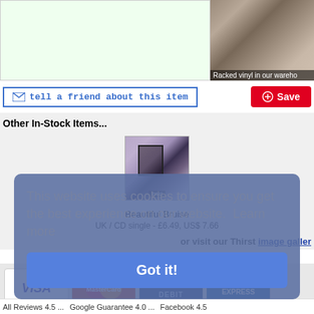[Figure (photo): Green-tinted box on the left and a warehouse photo showing racked vinyl records on the right]
Racked vinyl in our warehouse
[Figure (screenshot): Tell a friend about this item button (blue bordered) and a Pinterest Save button (red)]
Other In-Stock Items...
[Figure (photo): Album cover thumbnail for Beautiful Bruise]
Beautiful Bruise
UK / CD single - £6.49, US$ 7.66
or visit our Thirst image gallery
This website uses cookies to ensure you get the best experience on our website.  Learn more
[Figure (infographic): Payment method logos: VISA, MasterCard, VISA DEBIT, AMERICAN EXPRESS]
Got it!